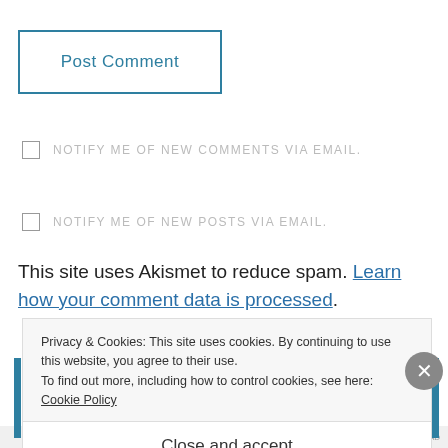Post Comment
NOTIFY ME OF NEW COMMENTS VIA EMAIL.
NOTIFY ME OF NEW POSTS VIA EMAIL.
This site uses Akismet to reduce spam. Learn how your comment data is processed.
Privacy & Cookies: This site uses cookies. By continuing to use this website, you agree to their use.
To find out more, including how to control cookies, see here: Cookie Policy
Close and accept